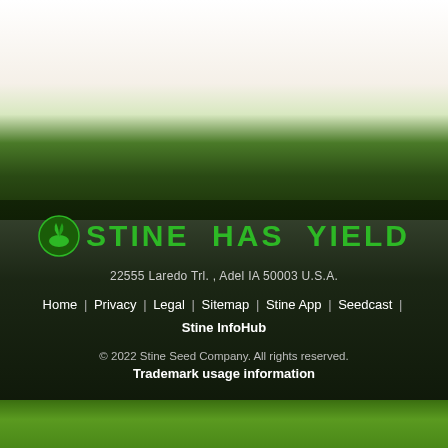[Figure (photo): Agricultural field with green crops under a light sky, used as background for a seed company website footer. The top portion shows sky transitioning to a flat green crop field, and the bottom shows dark dense green crop plants. The footer overlays the dark crop area.]
STINE HAS YIELD
22555 Laredo Trl. , Adel IA 50003 U.S.A.
Home | Privacy | Legal | Sitemap | Stine App | Seedcast | Stine InfoHub
© 2022 Stine Seed Company. All rights reserved.
Trademark usage information